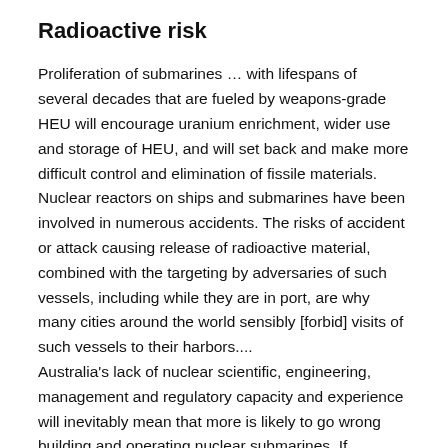Radioactive risk
Proliferation of submarines … with lifespans of several decades that are fueled by weapons-grade HEU will encourage uranium enrichment, wider use and storage of HEU, and will set back and make more difficult control and elimination of fissile materials. Nuclear reactors on ships and submarines have been involved in numerous accidents. The risks of accident or attack causing release of radioactive material, combined with the targeting by adversaries of such vessels, including while they are in port, are why many cities around the world sensibly [forbid] visits of such vessels to their harbors.... Australia's lack of nuclear scientific, engineering, management and regulatory capacity and experience will inevitably mean that more is likely to go wrong building and operating nuclear submarines. If